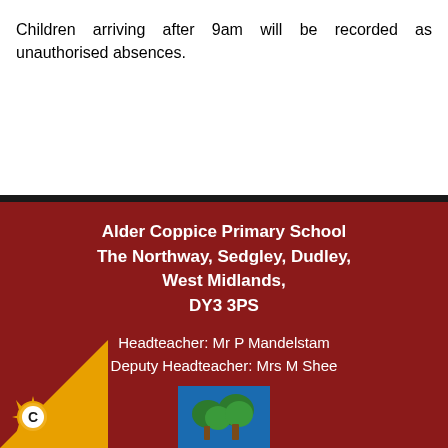Children arriving after 9am will be recorded as unauthorised absences.
Alder Coppice Primary School
The Northway, Sedgley, Dudley,
West Midlands,
DY3 3PS

Headteacher: Mr P Mandelstam
Deputy Headteacher: Mrs M Shee

admin@alder.dudley.sch.uk
School Office: 01384 816610